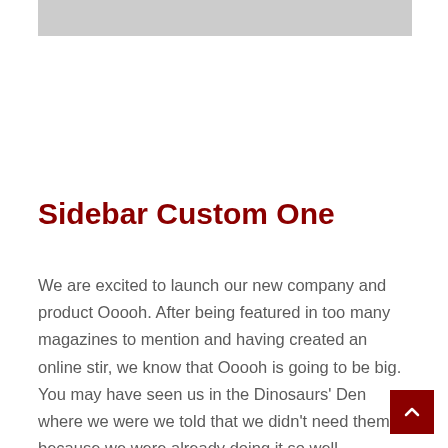[Figure (other): Gray placeholder image bar at top]
Sidebar Custom One
We are excited to launch our new company and product Ooooh. After being featured in too many magazines to mention and having created an online stir, we know that Ooooh is going to be big. You may have seen us in the Dinosaurs' Den where we were we told that we didn't need them because we were already doing it so well ourselves, so that's what we have continued to do. We